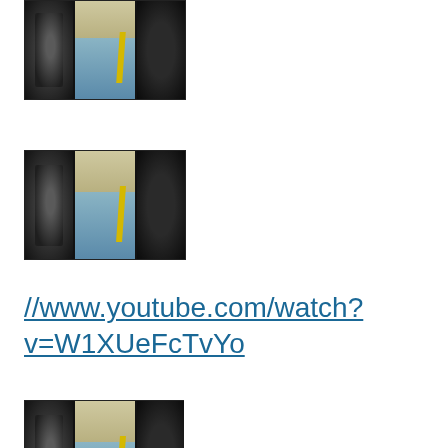[Figure (photo): Video thumbnail showing a film strip style image with three panels: dark left panel, center panel with blue/teal and yellow stripe, dark right panel]
[Figure (photo): Second video thumbnail identical in style to first, showing film strip panels with blue/teal center and yellow diagonal stripe]
//www.youtube.com/watch?v=W1XUeFcTvYo
[Figure (photo): Third video thumbnail identical in style, partially visible at bottom of page]